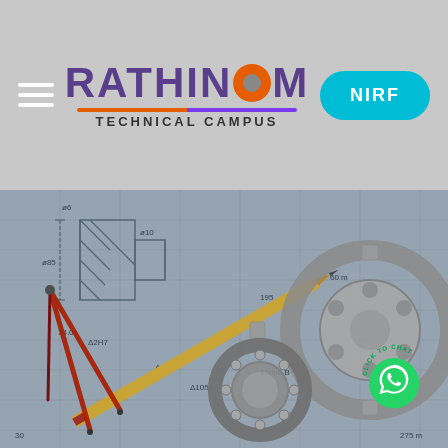Rathinam Technical Campus — Navigation header with hamburger menu, logo, and NIRF button
[Figure (photo): Engineering/technical drawing blueprint background with compass, pencil, gears, and bearing. Shows technical drawing annotations like dimensions (85, 74.0, Δ2H7, Δ45, Δ105, 195, etc.) overlaid with actual engineering tools (yellow pencil, red compass, metal gear, ball bearing).]
[Figure (logo): WhatsApp chat button — green circle with WhatsApp icon and 'CLICK TO CHAT' text arc above it]